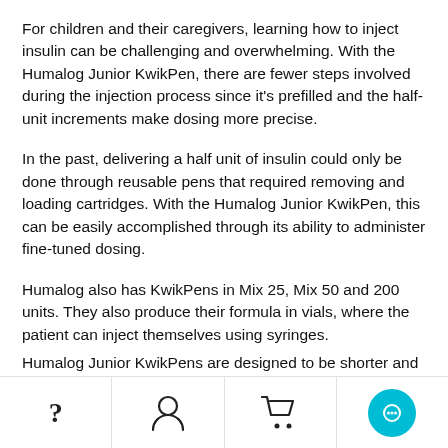For children and their caregivers, learning how to inject insulin can be challenging and overwhelming. With the Humalog Junior KwikPen, there are fewer steps involved during the injection process since it's prefilled and the half-unit increments make dosing more precise.
In the past, delivering a half unit of insulin could only be done through reusable pens that required removing and loading cartridges. With the Humalog Junior KwikPen, this can be easily accomplished through its ability to administer fine-tuned dosing.
Humalog also has KwikPens in Mix 25, Mix 50 and 200 units. They also produce their formula in vials, where the patient can inject themselves using syringes.
Humalog Junior KwikPens are designed to be shorter and
Navigation bar with icons: question mark, user/account, shopping cart, chat